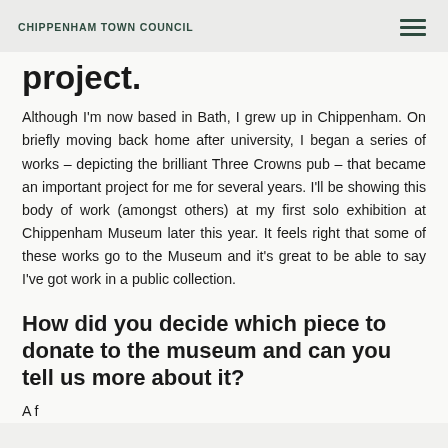CHIPPENHAM TOWN COUNCIL
project.
Although I'm now based in Bath, I grew up in Chippenham. On briefly moving back home after university, I began a series of works – depicting the brilliant Three Crowns pub – that became an important project for me for several years. I'll be showing this body of work (amongst others) at my first solo exhibition at Chippenham Museum later this year. It feels right that some of these works go to the Museum and it's great to be able to say I've got work in a public collection.
How did you decide which piece to donate to the museum and can you tell us more about it?
A f...